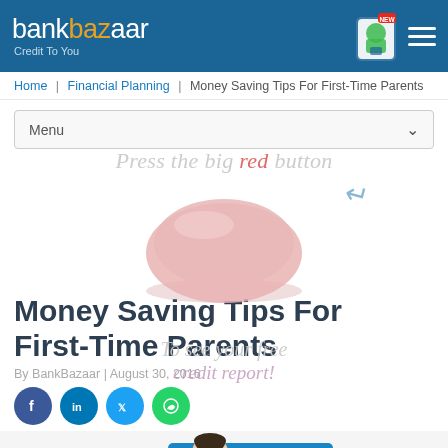bankbazaar — Credit To You
Home | Financial Planning | Money Saving Tips For First-Time Parents
Menu
Money Saving Tips For First-Time Parents
By BankBazaar | August 30, 2016
[Figure (illustration): Social media share icons: Facebook, LinkedIn, Twitter, WhatsApp]
[Figure (illustration): Cartoon illustration of a father and child at the bottom of the page with yellow and blue background shapes]